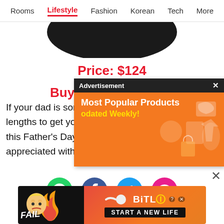Rooms  Lifestyle  Fashion  Korean  Tech  More
[Figure (photo): Black oval/circular object partially visible at top of page]
Price: $124
Buy N...
[Figure (screenshot): Advertisement popup overlay with dark header bar showing 'Advertisement x', orange body with text 'Most Popular Products Updated Weekly!' and icons]
If your dad is someone who does not want anything fo... lengths to get you exactly ... this Father's Day show him... appreciated with these unique gifts. The products
[Figure (screenshot): Social sharing icons row: WhatsApp (green), Facebook (blue), Twitter (blue), chat bubble (pink)]
[Figure (screenshot): Bottom banner advertisement for BitLife - 'START A NEW LIFE' with FAIL text and animated character]